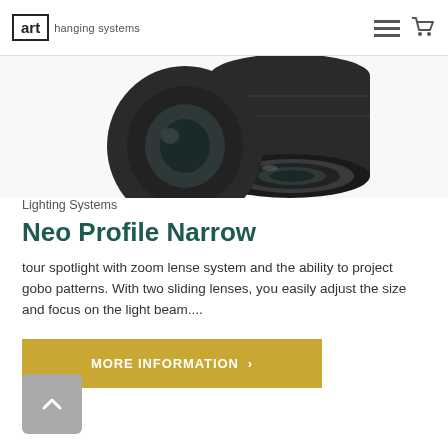art hanging systems
[Figure (photo): Close-up photo of a spotlight lens assembly (Neo Profile Narrow product), partially cropped at top, showing dark cylindrical lens housing with glass elements]
Lighting Systems
Neo Profile Narrow
tour spotlight with zoom lense system and the ability to project gobo patterns. With two sliding lenses, you easily adjust the size and focus on the light beam....
MORE INFORMATION >